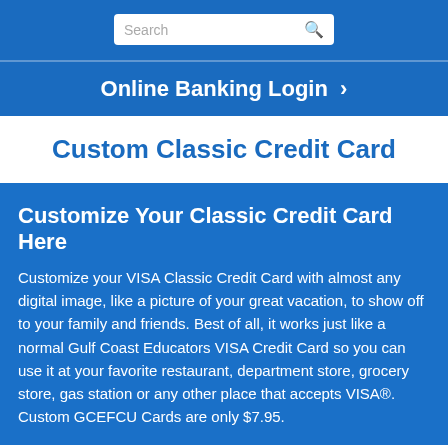[Figure (screenshot): Top blue navigation bar with a search box containing placeholder text 'Search' and a search icon]
Online Banking Login >
Custom Classic Credit Card
Customize Your Classic Credit Card Here
Customize your VISA Classic Credit Card with almost any digital image, like a picture of your great vacation, to show off to your family and friends. Best of all, it works just like a normal Gulf Coast Educators VISA Credit Card so you can use it at your favorite restaurant, department store, grocery store, gas station or any other place that accepts VISA®. Custom GCEFCU Cards are only $7.95.